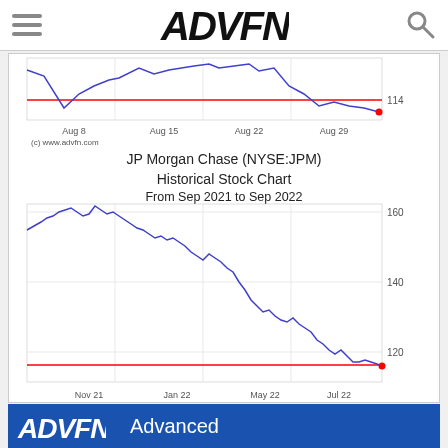ADVFN
[Figure (continuous-plot): Historical stock chart for a stock in August, showing price around 114. Blue line chart with red horizontal reference line. X-axis shows Aug 8, Aug 15, Aug 22, Aug 29. Y-axis shows 114.]
(c) www.advfn.com
JP Morgan Chase (NYSE:JPM) Historical Stock Chart From Sep 2021 to Sep 2022
[Figure (continuous-plot): Historical stock chart for JP Morgan Chase (NYSE:JPM) from Sep 2021 to Sep 2022. Blue line chart showing a downtrend from approximately 160 down to around 114-117. Red horizontal reference line near the bottom. X-axis shows Nov 21, Jan 22, May 22, Jul 22. Y-axis shows 120, 140, 160.]
(c) www.advfn.com
Advanced